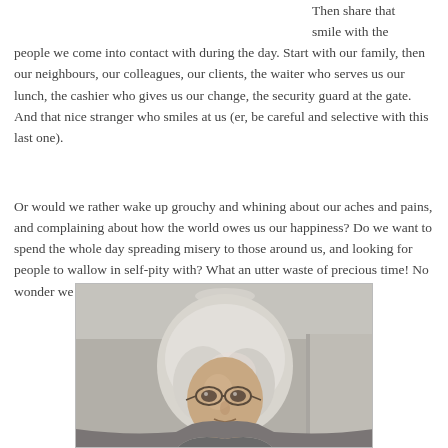Then share that smile with the people we come into contact with during the day. Start with our family, then our neighbours, our colleagues, our clients, the waiter who serves us our lunch, the cashier who gives us our change, the security guard at the gate. And that nice stranger who smiles at us (er, be careful and selective with this last one).
Or would we rather wake up grouchy and whining about our aches and pains, and complaining about how the world owes us our happiness? Do we want to spend the whole day spreading misery to those around us, and looking for people to wallow in self-pity with? What an utter waste of precious time! No wonder we are poor company for our friends and grandchildren!
[Figure (photo): Photo of an elderly woman with short silver/white hair, wearing glasses, taken indoors]